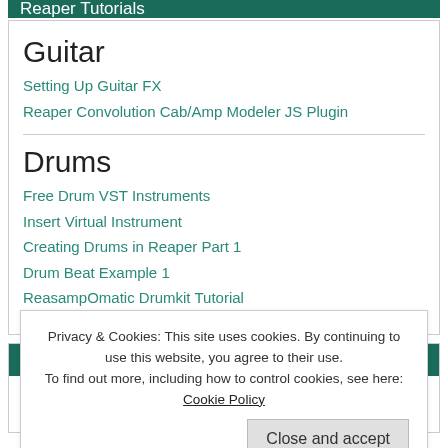Reaper Tutorials
Guitar
Setting Up Guitar FX
Reaper Convolution Cab/Amp Modeler JS Plugin
Drums
Free Drum VST Instruments
Insert Virtual Instrument
Creating Drums in Reaper Part 1
Drum Beat Example 1
ReasampOmatic Drumkit Tutorial
Reaper Tutorials
Midi
Privacy & Cookies: This site uses cookies. By continuing to use this website, you agree to their use.
To find out more, including how to control cookies, see here: Cookie Policy
Close and accept
Creating Chords